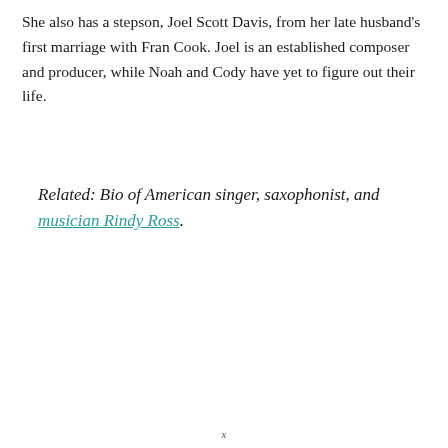She also has a stepson, Joel Scott Davis, from her late husband's first marriage with Fran Cook. Joel is an established composer and producer, while Noah and Cody have yet to figure out their life.
Related: Bio of American singer, saxophonist, and musician Rindy Ross.
x